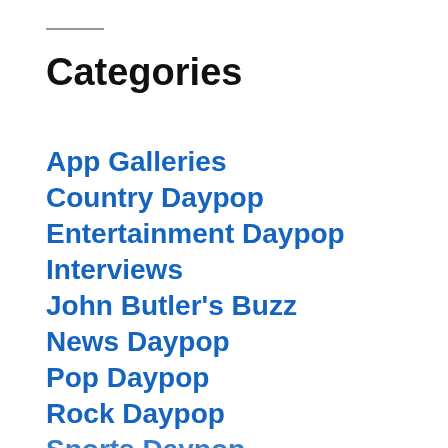Categories
App Galleries
Country Daypop
Entertainment Daypop
Interviews
John Butler's Buzz
News Daypop
Pop Daypop
Rock Daypop
Sports Daypop